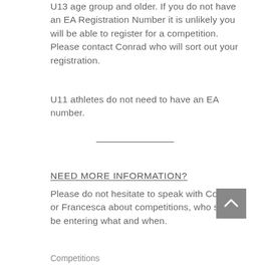U13 age group and older. If you do not have an EA Registration Number it is unlikely you will be able to register for a competition. Please contact Conrad who will sort out your registration.
U11 athletes do not need to have an EA number.
NEED MORE INFORMATION?
Please do not hesitate to speak with Conrad or Francesca about competitions, who should be entering what and when.
Competitions